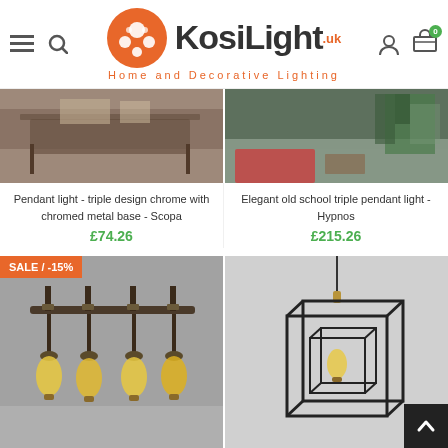[Figure (logo): KosiLight logo with orange circle icon, brand name and tagline 'Home and Decorative Lighting']
[Figure (photo): Top portion of pendant light product image - Scopa, showing furniture/table in background]
[Figure (photo): Top portion of pendant light product image - Hypnos, showing room interior with plant]
Pendant light - triple design chrome with chromed metal base - Scopa
£74.26
Elegant old school triple pendant light - Hypnos
£215.26
[Figure (photo): Industrial pipe pendant light with 5 Edison bulbs, SALE -15% badge]
[Figure (photo): Geometric cube cage pendant light with Edison bulb]